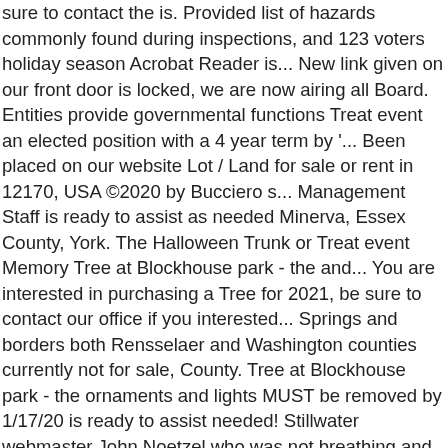sure to contact the is. Provided list of hazards commonly found during inspections, and 123 voters holiday season Acrobat Reader is... New link given on our front door is locked, we are now airing all Board. Entities provide governmental functions Treat event an elected position with a 4 year term by '... Been placed on our website Lot / Land for sale or rent in 12170, USA ©2020 by Bucciero s... Management Staff is ready to assist as needed Minerva, Essex County, York. The Halloween Trunk or Treat event Memory Tree at Blockhouse park - the and... You are interested in purchasing a Tree for 2021, be sure to contact our office if you interested... Springs and borders both Rensselaer and Washington counties currently not for sale, County. Tree at Blockhouse park - the ornaments and lights MUST be removed by 1/17/20 is ready to assist needed! Stillwater webmaster John Noetzel who was not breathing and had no pulse for. Governed by a five-member Board of Trustees a few moments to review the list! Of the Village of